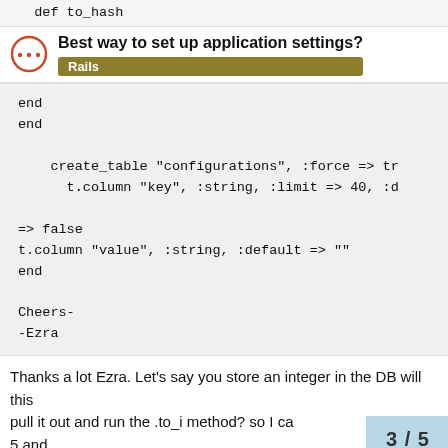def to_hash
Best way to set up application settings?
Rails
end
end

    create_table "configurations", :force => tr
      t.column "key", :string, :limit => 40, :d

=> false
t.column "value", :string, :default => ""
end

Cheers-
-Ezra
Thanks a lot Ezra. Let's say you store an integer in the DB will this
pull it out and run the .to_i method? so I ca
5 and